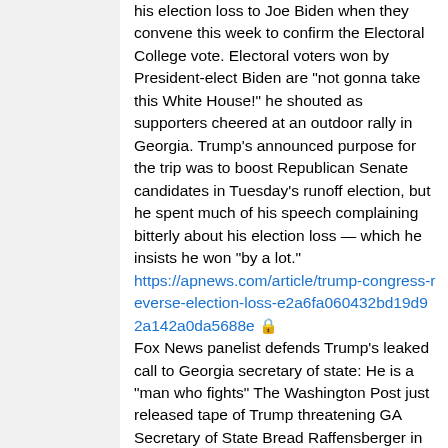his election loss to Joe Biden when they convene this week to confirm the Electoral College vote. Electoral voters won by President-elect Biden are "not gonna take this White House!" he shouted as supporters cheered at an outdoor rally in Georgia. Trump's announced purpose for the trip was to boost Republican Senate candidates in Tuesday's runoff election, but he spent much of his speech complaining bitterly about his election loss — which he insists he won "by a lot."
https://apnews.com/article/trump-congress-reverse-election-loss-e2a6fa060432bd19d92a142a0da5688e 🔒
Fox News panelist defends Trump's leaked call to Georgia secretary of state: He is a "man who fights" The Washington Post just released tape of Trump threatening GA Secretary of State Bread Raffensberger in an attempt to overturn election results. 3:30 GAYLE TROTTER: The voters who wanted President Trump to have a second term voted for him because he's a fighter. He's a man who fights. And this is yet another example -- A.B. STODDARD: